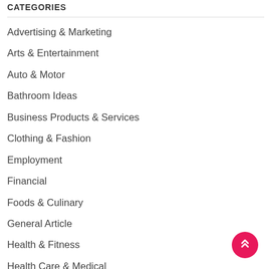CATEGORIES
Advertising & Marketing
Arts & Entertainment
Auto & Motor
Bathroom Ideas
Business Products & Services
Clothing & Fashion
Employment
Financial
Foods & Culinary
General Article
Health & Fitness
Health Care & Medical